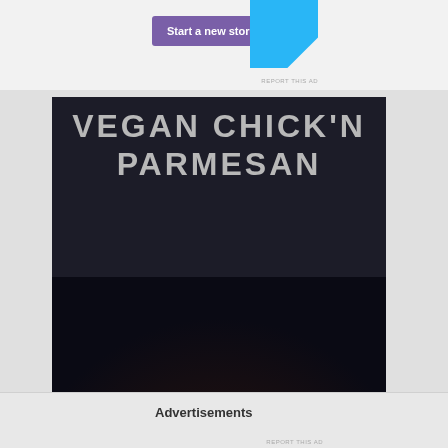[Figure (screenshot): Top advertisement banner with purple 'Start a new store' button and cyan shape, with 'REPORT THIS AD' text]
[Figure (photo): Food blog image showing 'VEGAN CHICK'N PARMESAN' text in large gray uppercase letters over a dark background, with a photo of a breaded vegan chicken parmesan dish topped with white melted cheese and brown spots, served on a dark pan with pasta]
Advertisements
REPORT THIS AD